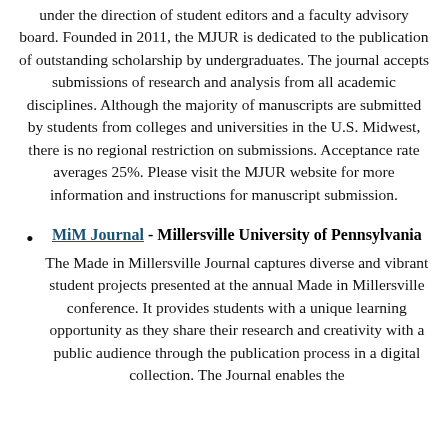under the direction of student editors and a faculty advisory board. Founded in 2011, the MJUR is dedicated to the publication of outstanding scholarship by undergraduates. The journal accepts submissions of research and analysis from all academic disciplines. Although the majority of manuscripts are submitted by students from colleges and universities in the U.S. Midwest, there is no regional restriction on submissions. Acceptance rate averages 25%. Please visit the MJUR website for more information and instructions for manuscript submission.
MiM Journal - Millersville University of Pennsylvania
The Made in Millersville Journal captures diverse and vibrant student projects presented at the annual Made in Millersville conference. It provides students with a unique learning opportunity as they share their research and creativity with a public audience through the publication process in a digital collection. The Journal enables the